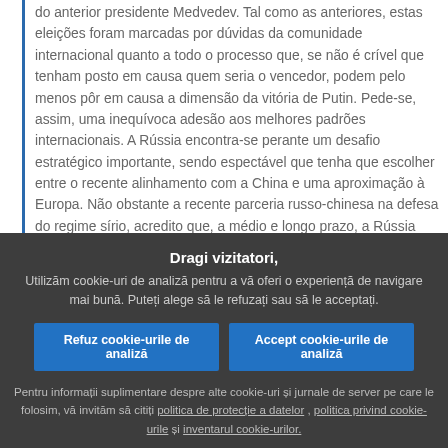do anterior presidente Medvedev. Tal como as anteriores, estas eleições foram marcadas por dúvidas da comunidade internacional quanto a todo o processo que, se não é crível que tenham posto em causa quem seria o vencedor, podem pelo menos pôr em causa a dimensão da vitória de Putin. Pede-se, assim, uma inequívoca adesão aos melhores padrões internacionais. A Rússia encontra-se perante um desafio estratégico importante, sendo espectável que tenha que escolher entre o recente alinhamento com a China e uma aproximação à Europa. Não obstante a recente parceria russo-chinesa na defesa do regime sírio, acredito que, a médio e longo prazo, a Rússia não deixará de reconhecer que os seus interesses serão melhor acautelados se optar por uma aproximação ao Ocidente. Faço votos para que assim seja e que esta procure adotar padrões e práticas coincidentes com este desejável alinhamento futuro.
Dragi vizitatori,
Utilizăm cookie-uri de analiză pentru a vă oferi o experiență de navigare mai bună. Puteți alege să le refuzați sau să le acceptați.
Refuz cookie-urile de analiză
Accept cookie-urile de analiză
Pentru informații suplimentare despre alte cookie-uri și jurnale de server pe care le folosim, vă invităm să citiți politica de protecție a datelor , politica privind cookie-urile și inventarul cookie-urilor.